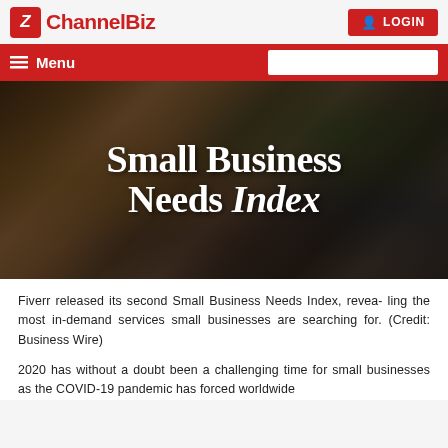ChannelBiz | LOGIN
[Figure (screenshot): ChannelBiz website navigation bar with red Menu bar and search box]
[Figure (photo): Hero image of a home office/workspace with dark overlay and white title text reading 'Small Business Needs Index' in serif font]
Fiverr released its second Small Business Needs Index, revealing the most in-demand services small businesses are searching for. (Credit: Business Wire)
2020 has without a doubt been a challenging time for small businesses as the COVID-19 pandemic has forced worldwide